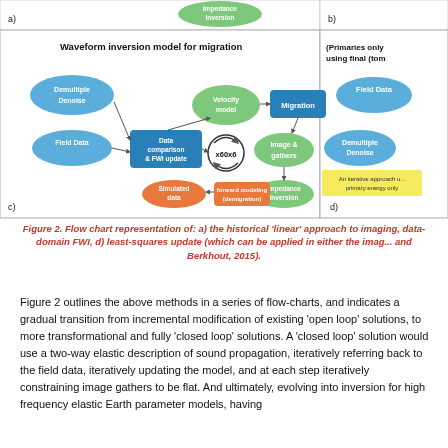[Figure (flowchart): Two flowchart panels showing waveform inversion model for migration (panel c) and Primaries only using final (panel d). Panel c shows: Demultiple/Denoise and Field Data feeding into Data comparison & FWI update, with x60x6 loop, connected to Velocity model, Migration, Image & gathers, Impedance inversion, Simulated data, and forward modeling (demigration). Panel d is partially visible showing Field Data, Demultiple/Denoise with note about iterative approach using primary energy only.]
Figure 2. Flow chart representation of: a) the historical 'linear' approach to imaging, data-domain FWI, d) least-squares update (which can be applied in either the image and Berkhout, 2015).
Figure 2 outlines the above methods in a series of flow-charts, and indicates a gradual transition from incremental modification of existing 'open loop' solutions, to more transformational and fully 'closed loop' solutions. A 'closed loop' solution would use a two-way elastic description of sound propagation, iteratively referring back to the field data, iteratively updating the model, and at each step iteratively constraining image gathers to be flat. And ultimately, evolving into inversion for high frequency elastic Earth parameter models, having